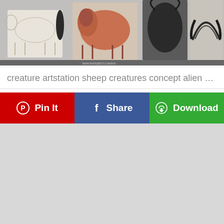[Figure (illustration): Concept art showing creature/animal anatomy studies including skeletal sheep, muscular bison, dark creature head, horned skull, and reference materials for grass, rush & heather, and moss]
creature artstation sheep creatures concept alien dina f…
[Figure (infographic): Row of three social sharing buttons: Pin It (red, Pinterest), Share (blue, Facebook), Download (green)]
[Figure (other): Gray placeholder/advertisement area]